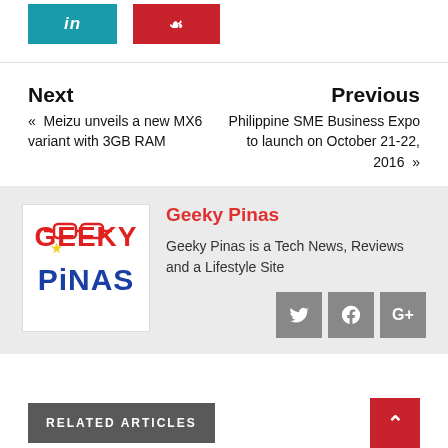[Figure (other): Social share buttons: LinkedIn (teal) and Pinterest (red)]
Next
« Meizu unveils a new MX6 variant with 3GB RAM
Previous
Philippine SME Business Expo to launch on October 21-22, 2016 »
[Figure (logo): Geeky Pinas logo — red GEEKY with glasses icon, blue PINAS with yellow star]
Geeky Pinas
Geeky Pinas is a Tech News, Reviews and a Lifestyle Site
[Figure (other): Social icons: Twitter, Facebook, Google+]
RELATED ARTICLES